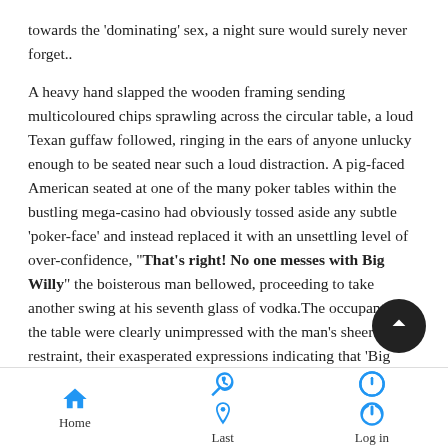towards the 'dominating' sex, a night sure would surely never forget..

A heavy hand slapped the wooden framing sending multicoloured chips sprawling across the circular table, a loud Texan guffaw followed, ringing in the ears of anyone unlucky enough to be seated near such a loud distraction. A pig-faced American seated at one of the many poker tables within the bustling mega-casino had obviously tossed aside any subtle 'poker-face' and instead replaced it with an unsettling level of over-confidence, "That's right! No one messes with Big Willy" the boisterous man bellowed, proceeding to take another swing at his seventh glass of vodka.The occupants at the table were clearly unimpressed with the man's sheer lack of restraint, their exasperated expressions indicating that 'Big Willy's' display of grandeur was not helping his cause at all. Disgusted sneers and the occasional shaking of the head confirmed that the rather overweight fellow was making more foes than friends that night.
Home | Last | Log in